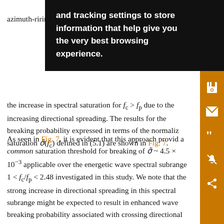azimuth-r... one of the ... h it is evident th... the spectral s... increasing ... ncin the increase in spectral saturation for f_c > f_p due to the increasing directional spreading. The results for the breaking probability expressed in terms of the normaliz saturation σ̃(f_c) defined in (5.1) are shown in Fig. 7.
As seen in Fig. 7, it is evident that this approach provid a common saturation threshold for breaking of σ̃ ~ 4.5 × 10⁻³ applicable over the energetic wave spectral subrange 1 < f_c/f_p < 2.48 investigated in this study. We note that the strong increase in directional spreading in this spectral subrange might be expected to result in enhanced wave breaking probability associated with crossing directional